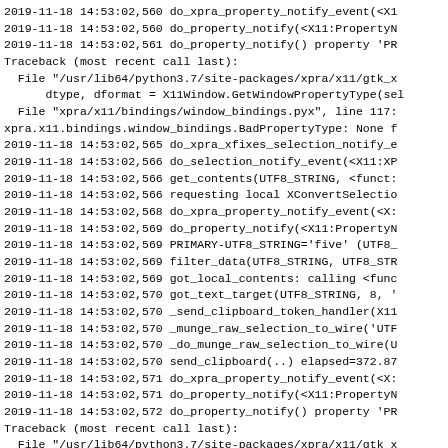2019-11-18 14:53:02,560 do_xpra_property_notify_event(<X1
2019-11-18 14:53:02,560 do_property_notify(<X11:PropertyN
2019-11-18 14:53:02,561 do_property_notify() property 'PR
Traceback (most recent call last):
  File "/usr/lib64/python3.7/site-packages/xpra/x11/gtk_x
      dtype, dformat = X11Window.GetWindowPropertyType(sel
  File "xpra/x11/bindings/window_bindings.pyx", line 117:
xpra.x11.bindings.window_bindings.BadPropertyType: None f
2019-11-18 14:53:02,565 do_xpra_xfixes_selection_notify_e
2019-11-18 14:53:02,566 do_selection_notify_event(<X11:XP
2019-11-18 14:53:02,566 get_contents(UTF8_STRING, <funct:
2019-11-18 14:53:02,566 requesting local XConvertSelectio
2019-11-18 14:53:02,568 do_xpra_property_notify_event(<X:
2019-11-18 14:53:02,569 do_property_notify(<X11:PropertyN
2019-11-18 14:53:02,569 PRIMARY-UTF8_STRING='five' (UTF8_
2019-11-18 14:53:02,569 filter_data(UTF8_STRING, UTF8_STR
2019-11-18 14:53:02,569 got_local_contents: calling <func
2019-11-18 14:53:02,570 got_text_target(UTF8_STRING, 8, '
2019-11-18 14:53:02,570 _send_clipboard_token_handler(X11
2019-11-18 14:53:02,570 _munge_raw_selection_to_wire('UTF
2019-11-18 14:53:02,570 _do_munge_raw_selection_to_wire(U
2019-11-18 14:53:02,570 send_clipboard(..) elapsed=372.87
2019-11-18 14:53:02,571 do_xpra_property_notify_event(<X:
2019-11-18 14:53:02,571 do_property_notify(<X11:PropertyN
2019-11-18 14:53:02,572 do_property_notify() property 'PR
Traceback (most recent call last):
  File "/usr/lib64/python3.7/site-packages/xpra/x11/gtk_x
      dtype, dformat = X11Window.GetWindowPropertyType(sel
  File "xpra/x11/bindings/window_bindings.pyx", line 117:
xpra.x11.bindings.window_bindings.BadPropertyType: None f
2019-11-18 14:53:02,574 do_xpra_xfixes_selection_notify_e